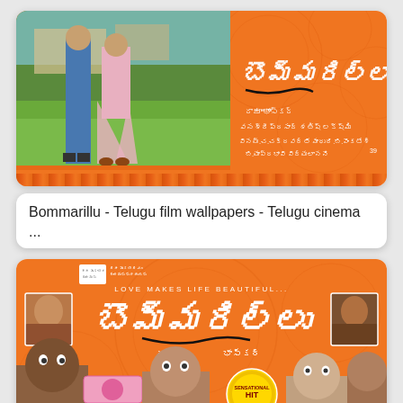[Figure (photo): Movie poster card for 'Bommarillu' Telugu film. Orange background with couple walking on green grass on the left half, and Telugu script title and credits on the right half.]
Bommarillu - Telugu film wallpapers - Telugu cinema ...
[Figure (photo): Second Bommarillu movie poster card with orange background, 'LOVE MAKES LIFE BEAUTIFUL...' text, large Telugu script title, character face thumbnails, and 'SENSATIONAL HIT' golden badge.]